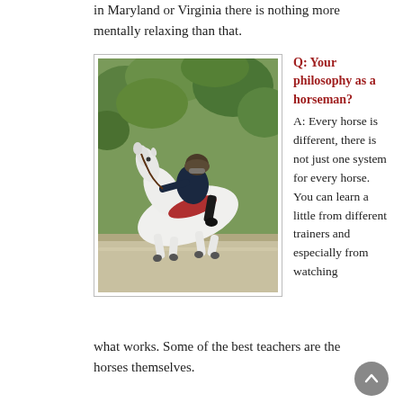in Maryland or Virginia there is nothing more mentally relaxing than that.
[Figure (photo): A rider in a dark jacket and helmet riding a white horse jumping over an obstacle, outdoor setting with green foliage in background.]
Q: Your philosophy as a horseman? A: Every horse is different, there is not just one system for every horse. You can learn a little from different trainers and especially from watching what works. Some of the best teachers are the horses themselves.